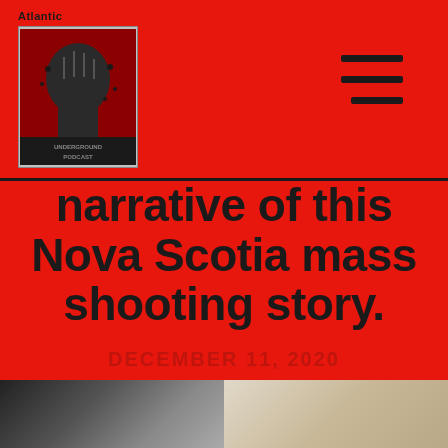[Figure (logo): Underground podcast logo with raised fist graphic on red/dark background, with 'Atlantic' text above]
narrative of this Nova Scotia mass shooting story.
DECEMBER 11, 2020
[Figure (photo): Two partial photos at the bottom of the page, one dark/grayscale on the left and one lighter/sepia toned on the right]